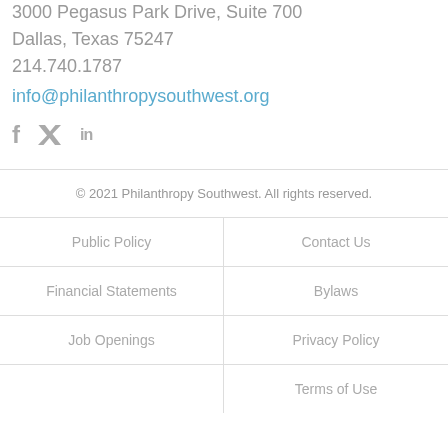3000 Pegasus Park Drive, Suite 700
Dallas, Texas 75247
214.740.1787
info@philanthropysouthwest.org
[Figure (illustration): Social media icons: Facebook (f), Twitter (bird), LinkedIn (in)]
© 2021 Philanthropy Southwest. All rights reserved.
Public Policy
Contact Us
Financial Statements
Bylaws
Job Openings
Privacy Policy
Terms of Use